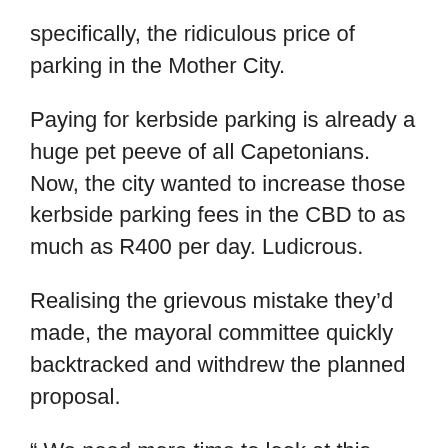specifically, the ridiculous price of parking in the Mother City.
Paying for kerbside parking is already a huge pet peeve of all Capetonians. Now, the city wanted to increase those kerbside parking fees in the CBD to as much as R400 per day. Ludicrous.
Realising the grievous mistake they’d made, the mayoral committee quickly backtracked and withdrew the planned proposal.
“ We need more time to look at this plan. This has not had the agenda discussions, we need a thorough